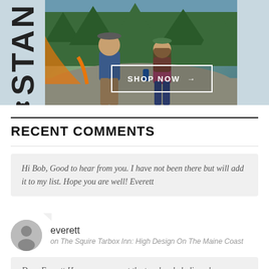[Figure (photo): Stanley brand advertisement showing two people (man and woman) sitting on rocks outdoors with trees in background. Man holds a blue Stanley thermos. Left panel shows STAN text vertically and Stanley bear logo. 'SHOP NOW →' button with white border overlay.]
RECENT COMMENTS
Hi Bob, Good to hear from you. I have not been there but will add it to my list. Hope you are well! Everett
everett
on The Squire Tarbox Inn: High Design On The Maine Coast
Dear Everett Have you ever met the two lovely ladies who